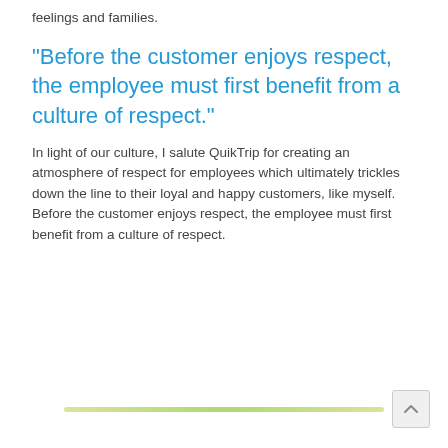feelings and families.
“Before the customer enjoys respect, the employee must first benefit from a culture of respect.”
In light of our culture, I salute QuikTrip for creating an atmosphere of respect for employees which ultimately trickles down the line to their loyal and happy customers, like myself.  Before the customer enjoys respect, the employee must first benefit from a culture of respect.